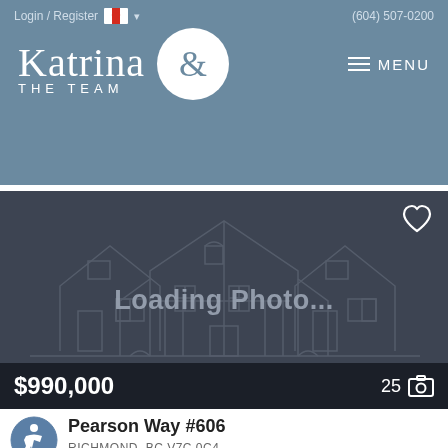Login / Register  (604) 507-0200
[Figure (logo): Katrina & The Team real estate logo with ampersand in white circle on blue-grey background]
[Figure (photo): Property listing photo placeholder showing 'Loading Photo...' with house outline illustration on dark background]
$990,000  25 photos
Pearson Way #606
RICHMOND, BC V7C 0C4